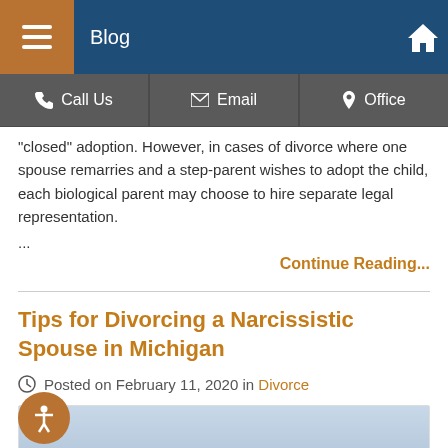Blog
Call Us | Email | Office
“closed” adoption. However, in cases of divorce where one spouse remarries and a step-parent wishes to adopt the child, each biological parent may choose to hire separate legal representation.
...
Continue Reading...
Tips for Divorcing a Narcissistic Spouse in Michigan
Posted on February 11, 2020 in Divorce
[Figure (photo): Blog post image related to narcissistic spouse divorce article]